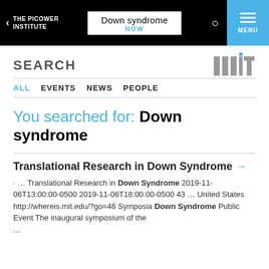THE PICOWER INSTITUTE | Down syndrome NOW | MENU
SEARCH
ALL
EVENTS
NEWS
PEOPLE
You searched for: Down syndrome
Translational Research in Down Syndrome →
· … Translational Research in Down Syndrome 2019-11-06T13:00:00-0500 2019-11-06T18:00:00-0500 43 … United States http://whereis.mit.edu/?go=46 Symposia Down Syndrome Public Event The inaugural symposium of the …